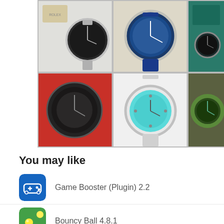[Figure (photo): A 2x3 grid of watch photos showing various Rolex watches including models with black, blue, teal, and green dials/bezels]
You may like
Game Booster (Plugin) 2.2
Bouncy Ball 4.8.1
حالة الطقس اليومي 1.1